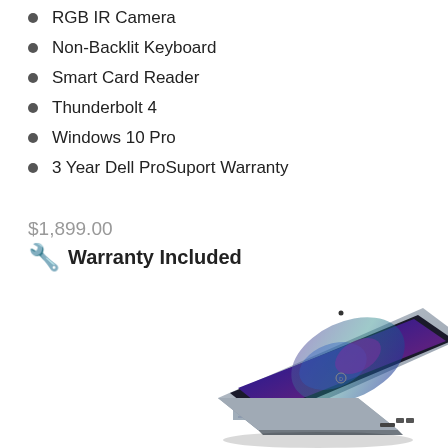RGB IR Camera
Non-Backlit Keyboard
Smart Card Reader
Thunderbolt 4
Windows 10 Pro
3 Year Dell ProSuport Warranty
$1,899.00
🛠 Warranty Included
[Figure (photo): Dell laptop open at an angle showing the screen with a colorful abstract wallpaper, keyboard visible, viewed from slightly above and to the side.]